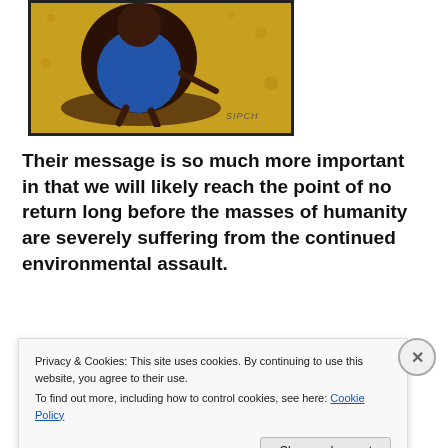[Figure (illustration): Colorful folk-art style illustration with a figure in a blue garment against a yellow-orange background, with watermark text 'SIPCH' in lower right]
Their message is so much more important in that we will likely reach the point of no return long before the masses of humanity are severely suffering from the continued environmental assault.
[Figure (photo): Book/DVD cover with red banner reading 'INCLUDES DVD: The 9/11 News Special You Never Saw' and a photo below showing smoke/buildings]
Privacy & Cookies: This site uses cookies. By continuing to use this website, you agree to their use.
To find out more, including how to control cookies, see here: Cookie Policy
Close and accept